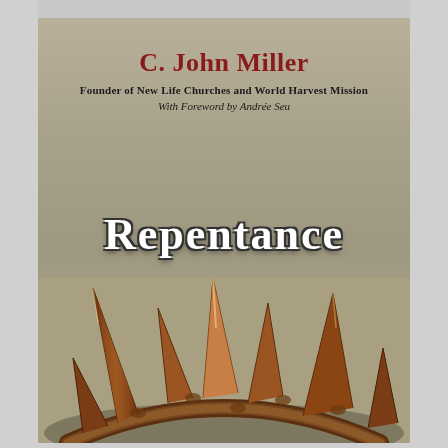[Figure (illustration): Book cover for 'Repentance: A Daring Call to Real Surrender' by C. John Miller. The cover features a tan/olive background with thorns (crown of thorns) in the lower portion. The author name appears at top in dark red bold serif font, followed by subtitle lines about being Founder of New Life Churches and World Harvest Mission, and a foreword by Andrée Seu. The book title 'REPENTANCE' is displayed in large white serif letters with dark outline/shadow, and the subtitle 'A Daring Call to Real Surrender' appears below in italic.]
C. John Miller
Founder of New Life Churches and World Harvest Mission
With Foreword by Andrée Seu
REPENTANCE
A Daring Call to Real Surrender